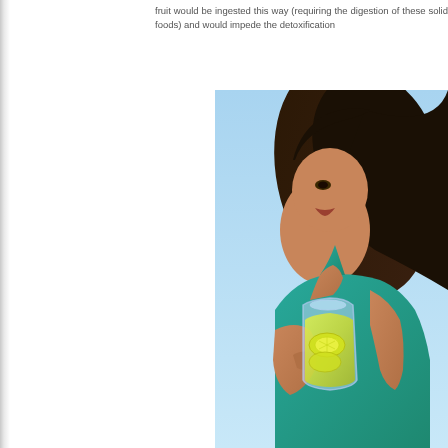fruit would be ingested this way (requiring the dige these solid foods) and would impede the detoxification
[Figure (photo): A young woman with dark hair wearing a teal/turquoise top drinking from a glass bottle filled with a yellow-green lemon drink, against a blue sky background.]